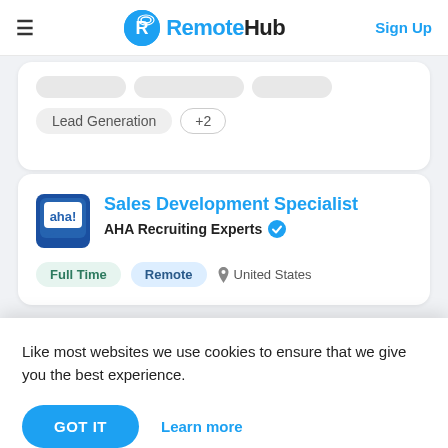RemoteHub — Sign Up
Lead Generation  +2
Sales Development Specialist
AHA Recruiting Experts  ✓
Full Time   Remote   United States
Like most websites we use cookies to ensure that we give you the best experience.
GOT IT   Learn more
Outbound Sales   B2B Marketing